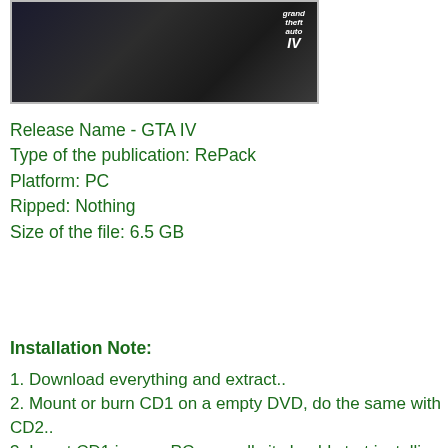[Figure (photo): Grand Theft Auto IV game box art / screenshot showing a dark scene with a car and the GTA IV logo in the top right corner]
Release Name - GTA IV
Type of the publication: RePack
Platform: PC
Ripped: Nothing
Size of the file: 6.5 GB
Installation Note:
1. Download everything and extract..
2. Mount or burn CD1 on a empty DVD, do the same with CD2..
3. Insert CD1 in your PC normally it should start installing if it doesnt go to Computer and double click on the CD
4. When the install is at 50% a window will pop up in a strange language just insert CD2 and click ok
5. When the install is done go to you desktop and search for a GTA IV logo click on it make a account for Rockstar Games Social Club and a offline account for Windows Live Gaming.